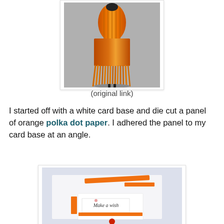[Figure (photo): Photo of an orange corn/yarn decorative figure on a grey background, viewed from behind, showing orange braided/fringed strands]
(original link)
I started off with a white card base and die cut a panel of orange polka dot paper. I adhered the panel to my card base at an angle.
[Figure (photo): Craft card project in progress showing a white card base with orange polka dot panel at an angle and a 'Make a wish' stamped panel]